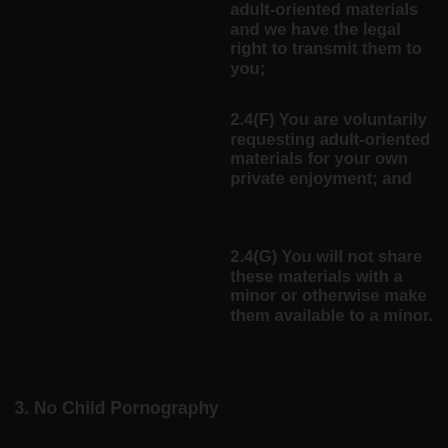adult-oriented materials and we have the legal right to transmit them to you;
2.4(F) You are voluntarily requesting adult-oriented materials for your own private enjoyment; and
2.4(G) You will not share these materials with a minor or otherwise make them available to a minor.
3. No Child Pornography